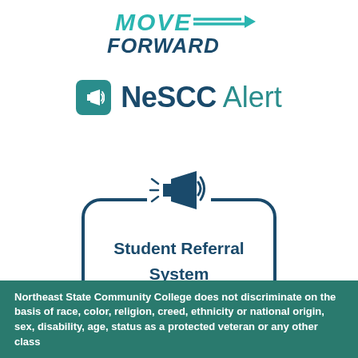[Figure (logo): Move Forward logo with teal arrow and stylized italic text]
[Figure (logo): NeSCC Alert logo with megaphone icon in teal rounded square, NeSCC in dark blue bold, Alert in teal]
[Figure (illustration): Student Referral System badge with rounded rectangle border and megaphone icon above]
Northeast State Community College does not discriminate on the basis of race, color, religion, creed, ethnicity or national origin, sex, disability, age, status as a protected veteran or any other class